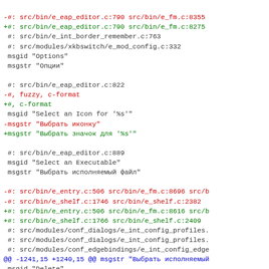-#: src/bin/e_eap_editor.c:790 src/bin/e_fm.c:8355
+#: src/bin/e_eap_editor.c:790 src/bin/e_fm.c:8275
 #: src/bin/e_int_border_remember.c:763
 #: src/modules/xkbswitch/e_mod_config.c:332
 msgid "Options"
 msgstr "Опции"

 #: src/bin/e_eap_editor.c:822
-#, fuzzy, c-format
+#, c-format
 msgid "Select an Icon for '%s'"
-msgstr "Выбрать иконку"
+msgstr "Выбрать значок для '%s'"

 #: src/bin/e_eap_editor.c:889
 msgid "Select an Executable"
 msgstr "Выбрать исполняемый файл"

-#: src/bin/e_entry.c:506 src/bin/e_fm.c:8696 src/b
-#: src/bin/e_shelf.c:1746 src/bin/e_shelf.c:2382
+#: src/bin/e_entry.c:506 src/bin/e_fm.c:8616 src/b
+#: src/bin/e_shelf.c:1766 src/bin/e_shelf.c:2409
 #: src/modules/conf_dialogs/e_int_config_profiles.
 #: src/modules/conf_dialogs/e_int_config_profiles.
 #: src/modules/conf_edgebindings/e_int_config_edge
@@ -1241,15 +1240,15 @@ msgstr "Выбрать исполняемый
 msgid "Delete"
 msgstr "Удалить"

-#: src/bin/e_entry.c:516 src/bin/e_fm.c:8607